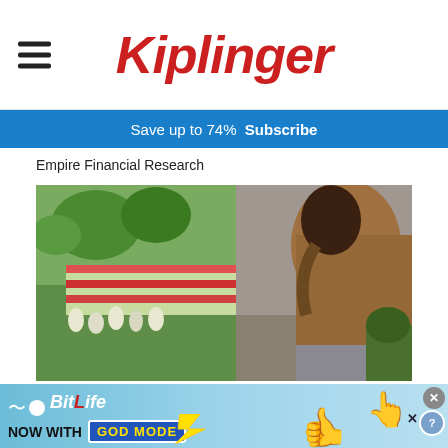Kiplinger
Save up to 74%  Subscribe
Empire Financial Research
[Figure (photo): Person in a tan/brown jacket bending over to look at flowers and plants at what appears to be a garden center or flower market. Green plants and colorful flowers are visible in the foreground.]
[Figure (other): BitLife advertisement banner: 'NOW WITH GOD MODE' with cartoon thumb and pointing hand graphics on a light blue background.]